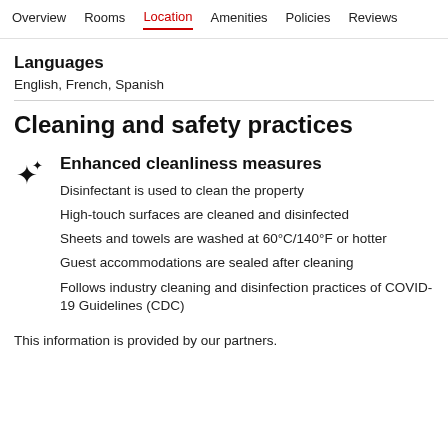Overview  Rooms  Location  Amenities  Policies  Reviews
Languages
English, French, Spanish
Cleaning and safety practices
Enhanced cleanliness measures
Disinfectant is used to clean the property
High-touch surfaces are cleaned and disinfected
Sheets and towels are washed at 60°C/140°F or hotter
Guest accommodations are sealed after cleaning
Follows industry cleaning and disinfection practices of COVID-19 Guidelines (CDC)
This information is provided by our partners.